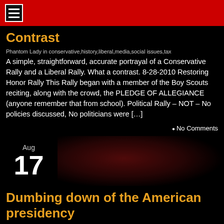Contrast
Phantom Lady in conservative,history,liberal,media,social issues,tax
A simple, straightforward, accurate portrayal of a Conservative Rally and a Liberal Rally. What a contrast. 8-28-2010 Restoring Honor Rally This Rally began with a member of the Boy Scouts reciting, along with the crowd, the PLEDGE OF ALLEGIANCE (anyone remember that from school). Political Rally – NOT – No policies discussed, No politicians were […]
No Comments
Aug 17
[Figure (photo): Dark reddish blurred banner image for August 17 post]
Dumbing down of the American presidency
Phantom Lady in congress,economy,history,legislation,liberal,presidency,social issues
Barack Obama, was in Mexico, and had a few words to say about immigration reform. After whining for the millionth time about how much he has on his plate, Obama said he expects Congress to draft an immigration bill by year's end… after health care, energy, and financial regulations are enacted. Vowing he'll continue immigration […]